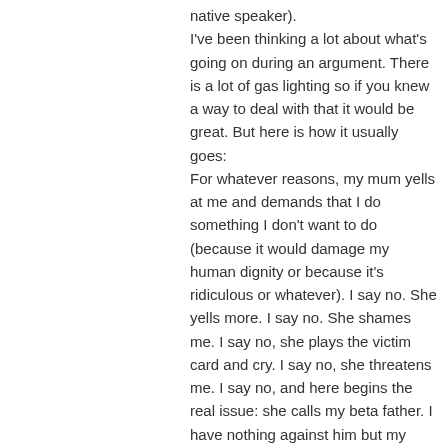native speaker). I've been thinking a lot about what's going on during an argument. There is a lot of gas lighting so if you knew a way to deal with that it would be great. But here is how it usually goes: For whatever reasons, my mum yells at me and demands that I do something I don't want to do (because it would damage my human dignity or because it's ridiculous or whatever). I say no. She yells more. I say no. She shames me. I say no, she plays the victim card and cry. I say no, she threatens me. I say no, and here begins the real issue: she calls my beta father. I have nothing against him but my mother practically explains to him why I am a horrible person and he joins her in her efforts of making me doing what she wants me to do. Most of the time she won't